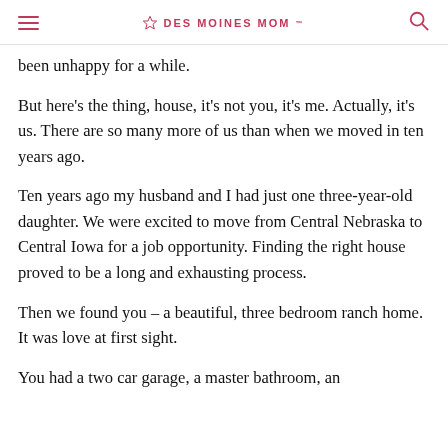DES MOINES MOM
been unhappy for a while.
But here's the thing, house, it's not you, it's me. Actually, it's us. There are so many more of us than when we moved in ten years ago.
Ten years ago my husband and I had just one three-year-old daughter. We were excited to move from Central Nebraska to Central Iowa for a job opportunity. Finding the right house proved to be a long and exhausting process.
Then we found you – a beautiful, three bedroom ranch home. It was love at first sight.
You had a two car garage, a master bathroom, an